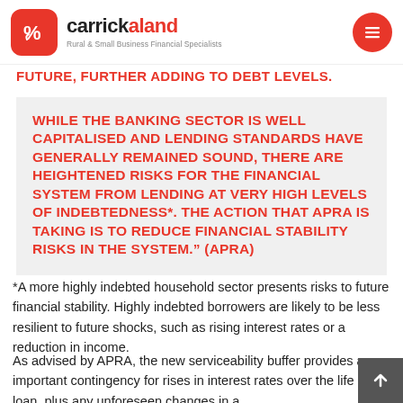carrickaland — Rural & Small Business Financial Specialists
FUTURE, FURTHER ADDING TO DEBT LEVELS.
WHILE THE BANKING SECTOR IS WELL CAPITALISED AND LENDING STANDARDS HAVE GENERALLY REMAINED SOUND, THERE ARE HEIGHTENED RISKS FOR THE FINANCIAL SYSTEM FROM LENDING AT VERY HIGH LEVELS OF INDEBTEDNESS*. THE ACTION THAT APRA IS TAKING IS TO REDUCE FINANCIAL STABILITY RISKS IN THE SYSTEM." (APRA)
*A more highly indebted household sector presents risks to future financial stability. Highly indebted borrowers are likely to be less resilient to future shocks, such as rising interest rates or a reduction in income.
As advised by APRA, the new serviceability buffer provides an important contingency for rises in interest rates over the life of the loan, plus any unforeseen changes in a